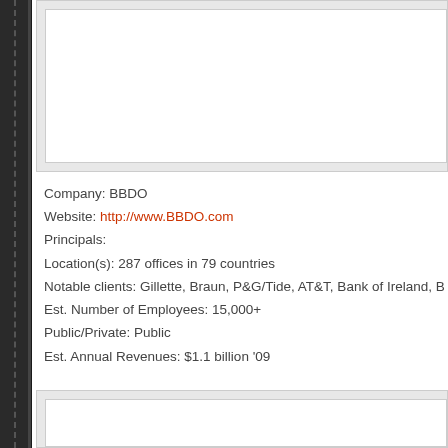[Figure (other): Top white card / image placeholder area]
Company: BBDO
Website: http://www.BBDO.com
Principals:
Location(s): 287 offices in 79 countries
Notable clients: Gillette, Braun, P&G/Tide, AT&T, Bank of Ireland, B...
Est. Number of Employees: 15,000+
Public/Private: Public
Est. Annual Revenues: $1.1 billion '09
[Figure (other): Bottom white card / image placeholder area]